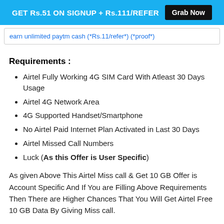GET Rs.51 ON SIGNUP + Rs.111/REFER  Grab Now
earn unlimited paytm cash (*Rs.11/refer*) (*proof*)
Requirements :
Airtel Fully Working 4G SIM Card With Atleast 30 Days Usage
Airtel 4G Network Area
4G Supported Handset/Smartphone
No Airtel Paid Internet Plan Activated in Last 30 Days
Airtel Missed Call Numbers
Luck (As this Offer is User Specific)
As given Above This Airtel Miss call & Get 10 GB Offer is Account Specific And If You are Filling Above Requirements Then There are Higher Chances That You Will Get Airtel Free 10 GB Data By Giving Miss call.